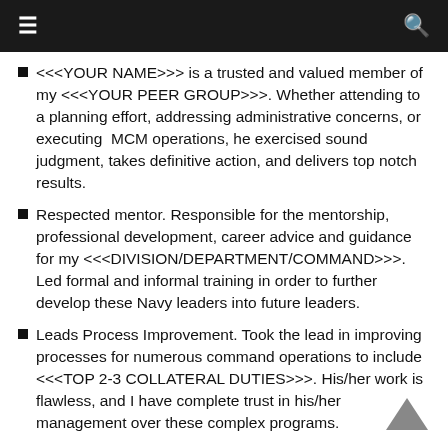≡  Q
<<<YOUR NAME>>> is a trusted and valued member of my <<<YOUR PEER GROUP>>>. Whether attending to a planning effort, addressing administrative concerns, or executing MCM operations, he exercised sound judgment, takes definitive action, and delivers top notch results.
Respected mentor. Responsible for the mentorship, professional development, career advice and guidance for my <<<DIVISION/DEPARTMENT/COMMAND>>>. Led formal and informal training in order to further develop these Navy leaders into future leaders.
Leads Process Improvement. Took the lead in improving processes for numerous command operations to include <<<TOP 2-3 COLLATERAL DUTIES>>>. His/her work is flawless, and I have complete trust in his/her management over these complex programs.
Deckplate Leader. Motivated, led, and trained seven sailors across three ratings, within three